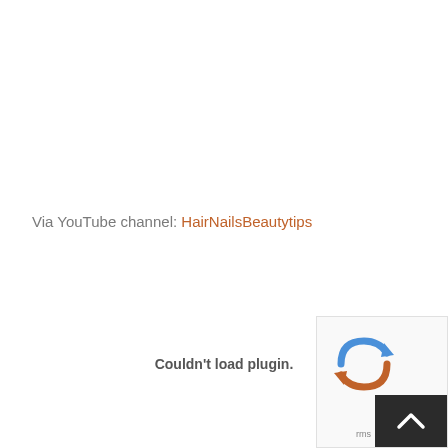Via YouTube channel: HairNailsBeautytips
Couldn't load plugin.
[Figure (other): reCAPTCHA widget and scroll-to-top button overlay in bottom-right corner]